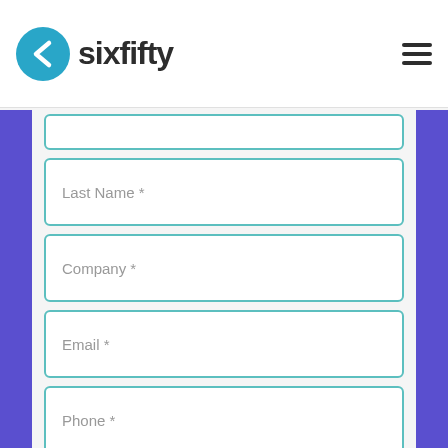[Figure (logo): SixFifty logo with teal circle arrow icon and dark text 'sixfifty']
Last Name *
Company *
Email *
Phone *
How did you hear about SixFifty?
By submitting your information, you agree to SixFifty's Terms and Conditions. We do not sell consumer information.
Schedule a Demo